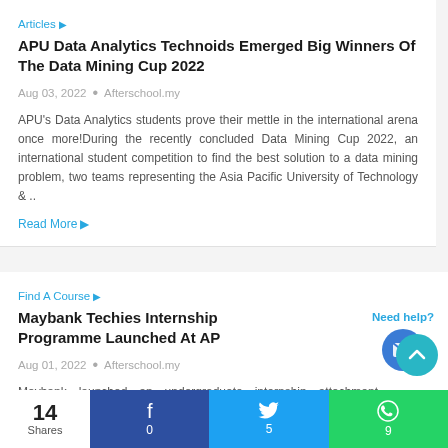Articles ▶
APU Data Analytics Technoids Emerged Big Winners Of The Data Mining Cup 2022
Aug 03, 2022  •  Afterschool.my
APU's Data Analytics students prove their mettle in the international arena once more!During the recently concluded Data Mining Cup 2022, an international student competition to find the best solution to a data mining problem, two teams representing the Asia Pacific University of Technology & ..
Read More ▶
Find A Course ▶
Maybank Techies Internship Programme Launched At AP
Aug 01, 2022  •  Afterschool.my
Maybank launched an undergraduate internship attachment programme for the techies at Asia Pacific University of Technology & Innovation (APU), by recruiting 18 aspiring Year-2 students information technology studies for a four-month attachment Maybank's head office tech department!Inc.
Need help?
14 Shares  0  5  9